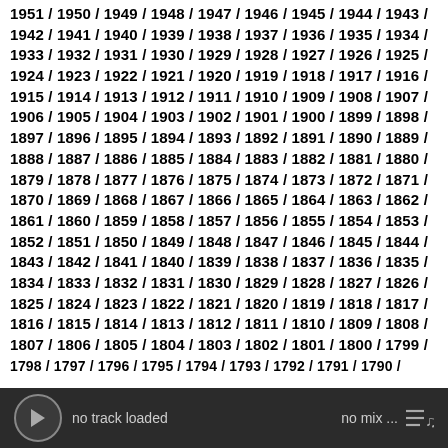1951 / 1950 / 1949 / 1948 / 1947 / 1946 / 1945 / 1944 / 1943 / 1942 / 1941 / 1940 / 1939 / 1938 / 1937 / 1936 / 1935 / 1934 / 1933 / 1932 / 1931 / 1930 / 1929 / 1928 / 1927 / 1926 / 1925 / 1924 / 1923 / 1922 / 1921 / 1920 / 1919 / 1918 / 1917 / 1916 / 1915 / 1914 / 1913 / 1912 / 1911 / 1910 / 1909 / 1908 / 1907 / 1906 / 1905 / 1904 / 1903 / 1902 / 1901 / 1900 / 1899 / 1898 / 1897 / 1896 / 1895 / 1894 / 1893 / 1892 / 1891 / 1890 / 1889 / 1888 / 1887 / 1886 / 1885 / 1884 / 1883 / 1882 / 1881 / 1880 / 1879 / 1878 / 1877 / 1876 / 1875 / 1874 / 1873 / 1872 / 1871 / 1870 / 1869 / 1868 / 1867 / 1866 / 1865 / 1864 / 1863 / 1862 / 1861 / 1860 / 1859 / 1858 / 1857 / 1856 / 1855 / 1854 / 1853 / 1852 / 1851 / 1850 / 1849 / 1848 / 1847 / 1846 / 1845 / 1844 / 1843 / 1842 / 1841 / 1840 / 1839 / 1838 / 1837 / 1836 / 1835 / 1834 / 1833 / 1832 / 1831 / 1830 / 1829 / 1828 / 1827 / 1826 / 1825 / 1824 / 1823 / 1822 / 1821 / 1820 / 1819 / 1818 / 1817 / 1816 / 1815 / 1814 / 1813 / 1812 / 1811 / 1810 / 1809 / 1808 / 1807 / 1806 / 1805 / 1804 / 1803 / 1802 / 1801 / 1800 / 1799 / 1798 / 1797 / 1796 / 1795 / 1794 / 1793 / 1792 / 1791 / 1790 /
no track loaded   no mix ...